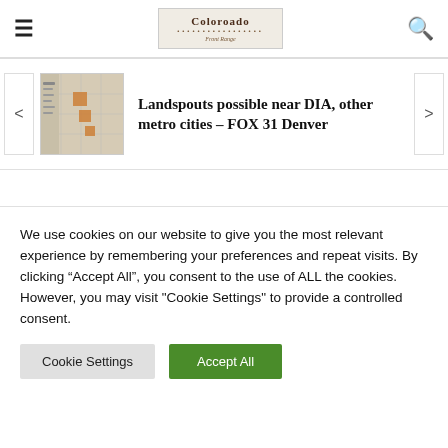Colorado | [logo] | [search]
[Figure (screenshot): Thumbnail map image showing a geographic area with orange-highlighted regions]
Landspouts possible near DIA, other metro cities – FOX 31 Denver
We use cookies on our website to give you the most relevant experience by remembering your preferences and repeat visits. By clicking “Accept All”, you consent to the use of ALL the cookies. However, you may visit "Cookie Settings" to provide a controlled consent.
Cookie Settings | Accept All